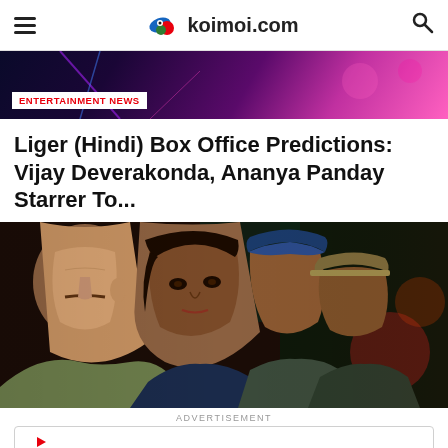koimoi.com
[Figure (photo): Colorful entertainment banner with purple/pink neon lighting with ENTERTAINMENT NEWS badge]
Liger (Hindi) Box Office Predictions: Vijay Deverakonda, Ananya Panday Starrer To...
[Figure (photo): Close-up profile shots of multiple actors/characters in dim lighting, appears to be a movie still]
ADVERTISEMENT
Ashburn OPEN 8AM-10PM 20321 Susan Leslie Dr, Ashburn